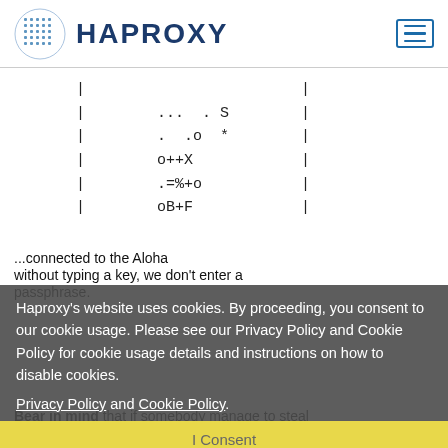HAPROXY
[Figure (screenshot): ASCII art block showing characters: pipes, dots, S, o, *, o++X, .=%+o, oB+F arranged in rows]
Haproxy's website uses cookies. By proceeding, you consent to our cookie usage. Please see our Privacy Policy and Cookie Policy for cookie usage details and instructions on how to disable cookies.
Privacy Policy and Cookie Policy
I Consent
...connected to the Aloha without typing a key, we don't enter a passphrase.
Bear in mind that if somebody manage to steal your private Key, then he would be able to get